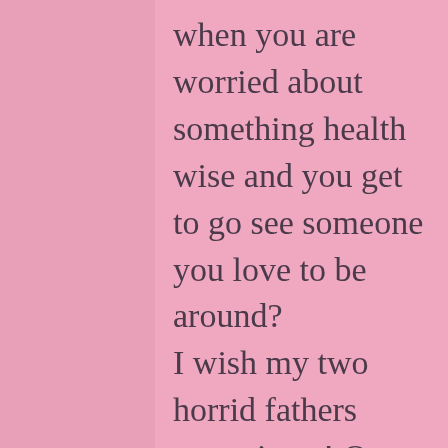when you are worried about something health wise and you get to go see someone you love to be around? I wish my two horrid fathers were tigers! Or at least one of them. My father